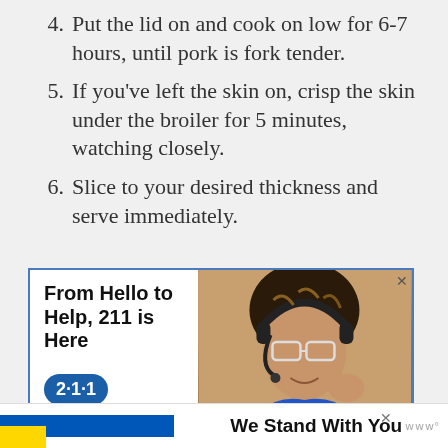4. Put the lid on and cook on low for 6-7 hours, until pork is fork tender.
5. If you've left the skin on, crisp the skin under the broiler for 5 minutes, watching closely.
6. Slice to your desired thickness and serve immediately.
[Figure (illustration): Advertisement for 211 helpline showing text 'From Hello to Help, 211 is Here' with a 2·1·1 badge logo and a photo of a smiling woman wearing headphones and glasses]
[Figure (illustration): Bottom ad banner with Ukrainian flag colors (blue and yellow) and text 'We Stand With You' with a close button and logo]